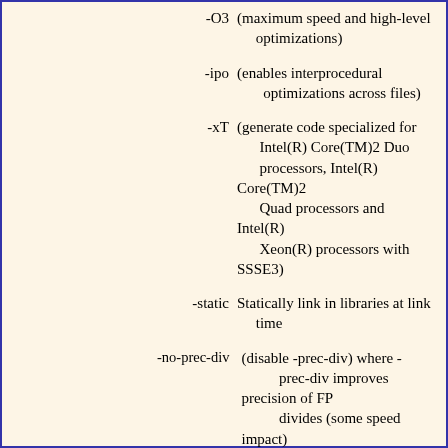-O3  (maximum speed and high-level optimizations)
-ipo (enables interprocedural optimizations across files)
-xT  (generate code specialized for Intel(R) Core(TM)2 Duo processors, Intel(R) Core(TM)2 Quad processors and Intel(R) Xeon(R) processors with SSSE3)
-static  Statically link in libraries at link time
-no-prec-div (disable -prec-div) where -prec-div improves precision of FP divides (some speed impact)
To override one of the options set by /fast, specify that option after the -fast option on the command line. The exception is the xT or QxT option which can't be overridden. The options set by /fast may change from release to release.